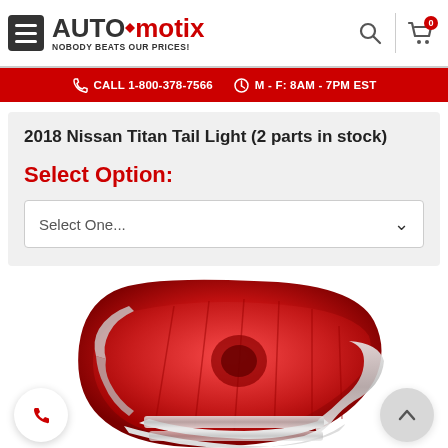AUTOmotix — NOBODY BEATS OUR PRICES!
CALL 1-800-378-7566  M - F: 8AM - 7PM EST
2018 Nissan Titan Tail Light (2 parts in stock)
Select Option:
Select One...
[Figure (photo): A red tail light assembly for a 2018 Nissan Titan, featuring a red lens with chrome and clear sections at the bottom.]